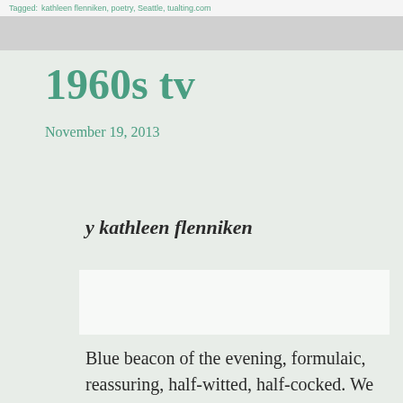Tagged: kathleen flenniken, poetry, Seattle, tualting.com
1960s tv
November 19, 2013
y kathleen flenniken
Blue beacon of the evening, formulaic, reassuring, half-witted, half-cocked. We half-watched the clock to gauge our